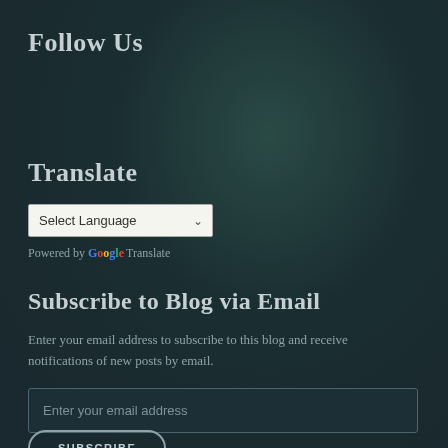Follow Us
Translate
Select Language
Powered by Google Translate
Subscribe to Blog via Email
Enter your email address to subscribe to this blog and receive notifications of new posts by email.
Enter your email address
SUBSCRIBE